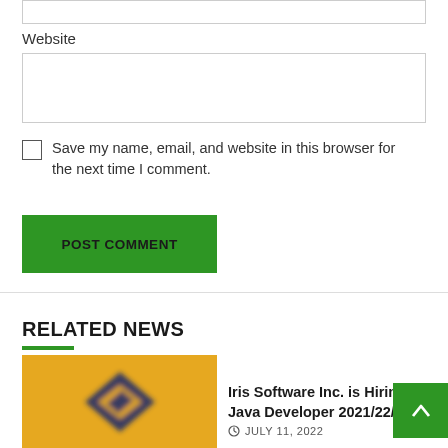Website
Save my name, email, and website in this browser for the next time I comment.
POST COMMENT
RELATED NEWS
[Figure (logo): Blurred logo on yellow/orange background, showing a dark blue diamond shape with yellow arrow details]
Iris Software Inc. is Hiring Java Developer 2021/22/23
JULY 11, 2022